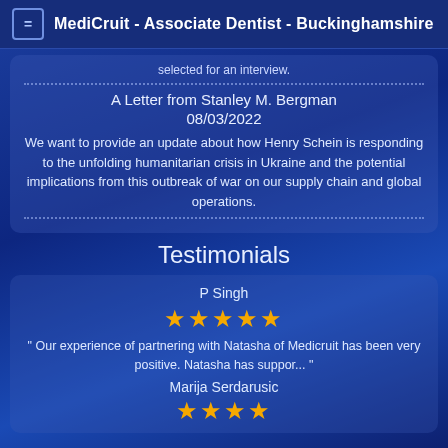MediCruit - Associate Dentist - Buckinghamshire
selected for an interview.
A Letter from Stanley M. Bergman
08/03/2022
We want to provide an update about how Henry Schein is responding to the unfolding humanitarian crisis in Ukraine and the potential implications from this outbreak of war on our supply chain and global operations.
Testimonials
P Singh
★★★★★
" Our experience of partnering with Natasha of Medicruit has been very positive. Natasha has suppor... "
Marija Serdarusic
★★★★★